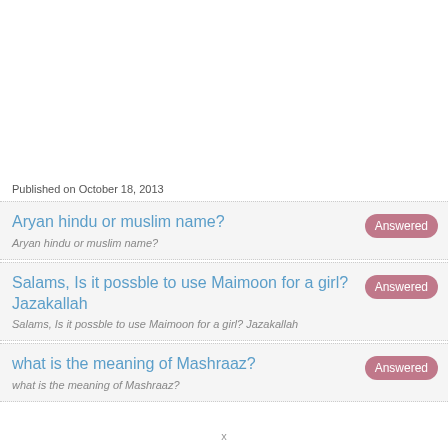Published on October 18, 2013
Aryan hindu or muslim name?
Aryan hindu or muslim name?
Salams, Is it possble to use Maimoon for a girl? Jazakallah
Salams, Is it possble to use Maimoon for a girl? Jazakallah
what is the meaning of Mashraaz?
what is the meaning of Mashraaz?
x